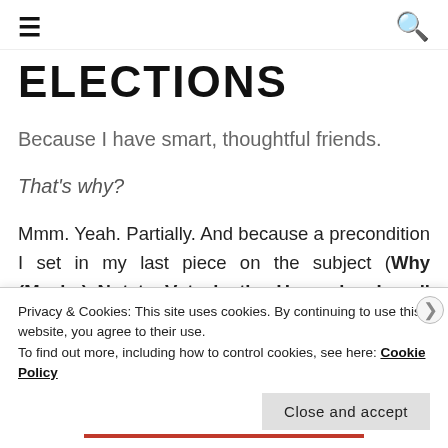≡  [search icon]
ELECTIONS
Because I have smart, thoughtful friends.
That's why?
Mmm. Yeah. Partially. And because a precondition I set in my last piece on the subject (Why (Maybe) Not to Vote in the Upcoming Israeli Elections), ie., a large, loud movement to Actively Not Vote, does not seem to be
Privacy & Cookies: This site uses cookies. By continuing to use this website, you agree to their use.
To find out more, including how to control cookies, see here: Cookie Policy
Close and accept